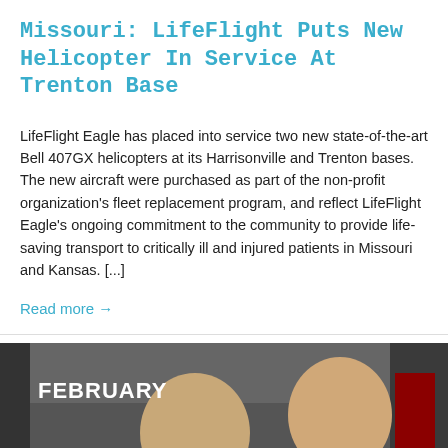Missouri: LifeFlight Puts New Helicopter In Service At Trenton Base
LifeFlight Eagle has placed into service two new state-of-the-art Bell 407GX helicopters at its Harrisonville and Trenton bases. The new aircraft were purchased as part of the non-profit organization's fleet replacement program, and reflect LifeFlight Eagle's ongoing commitment to the community to provide life-saving transport to critically ill and injured patients in Missouri and Kansas. [...]
Read more →
[Figure (photo): Two men in suits smiling, with 'FEBRUARY' text overlay in white at upper left and a small black badge/play button at lower right]